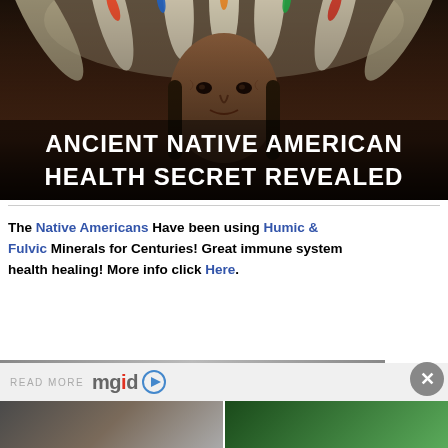[Figure (photo): Photo of Native American elder in traditional headdress with feathers, overlaid with bold white text reading 'ANCIENT NATIVE AMERICAN HEALTH SECRET REVEALED']
The Native Americans Have been using Humic & Fulvic Minerals for Centuries! Great immune system health healing! More info click Here.
[Figure (infographic): READ MORE mgid logo with play button, close X button, and two thumbnail images at bottom]